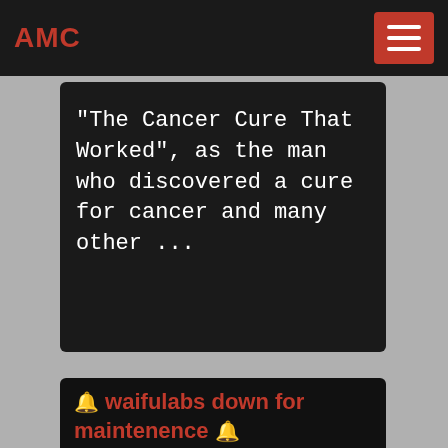AMC
"The Cancer Cure That Worked", as the man who discovered a cure for cancer and many other ...
🔔 waifulabs down for maintenence 🔔
[Figure (photo): Four-panel collage of industrial mining/crushing equipment and conveyor belts]
🔔 waifulabs down for maintenence 🔔. Follow @sizigistudios or discord for